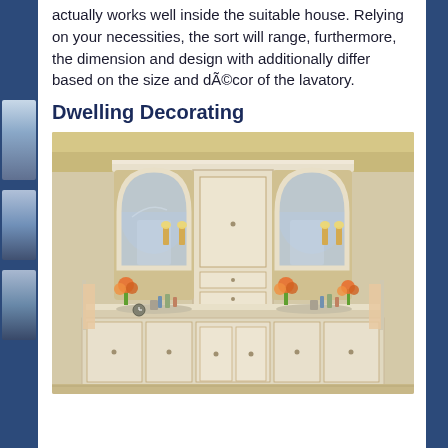actually works well inside the suitable house. Relying on your necessities, the sort will range, furthermore, the dimension and design with additionally differ based on the size and décor of the lavatory.
Dwelling Decorating
[Figure (photo): Elegant bathroom vanity with white cabinetry, two arched mirrors with wall sconces, double sinks with marble countertop, center tower cabinet, and lower cabinets with decorative hardware.]